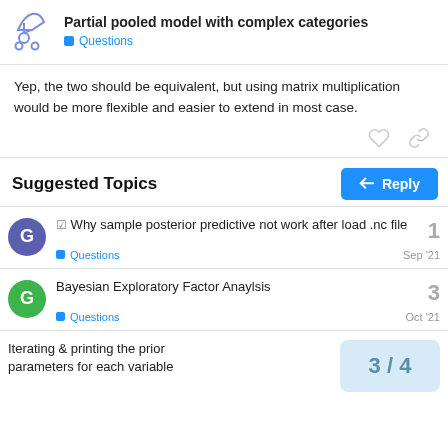Partial pooled model with complex categories — Questions
Yep, the two should be equivalent, but using matrix multiplication would be more flexible and easier to extend in most case.
Suggested Topics
Why sample posterior predictive not work after load .nc file — Questions — Sep '21 — 1 reply
Bayesian Exploratory Factor Anaylsis — Questions — Oct '21 — 3 replies
Iterating & printing the prior parameters for each variable — 3 / 4